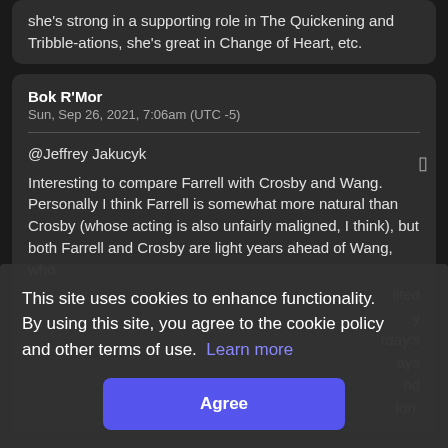she's strong in a supporting role in The Quickening and Tribble-ations, she's great in Change of Heart, etc.
Bok R'Mor
Sun, Sep 26, 2021, 7:06am (UTC -5)
@Jeffrey Jakucyk
Interesting to compare Farrell with Crosby and Wang. Personally I think Farrell is somewhat more natural than Crosby (whose acting is also unfairly maligned, I think), but both Farrell and Crosby are light years ahead of Wang, who
ilted y rday's ays nd ion.
This site uses cookies to enhance functionality. By using this site, you agree to the cookie policy and other terms of use. Learn more
Agree